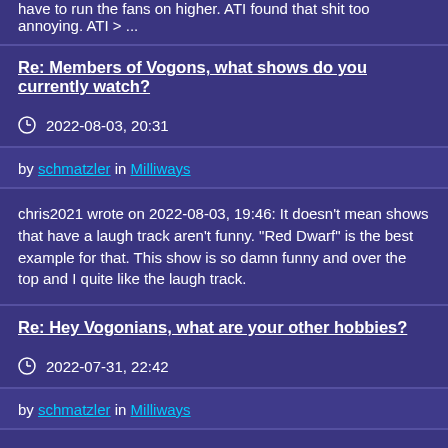have to run the fans on higher. ATI found that shit too annoying. ATI > ...
Re: Members of Vogons, what shows do you currently watch?
2022-08-03, 20:31
by schmatzler in Milliways
chris2021 wrote on 2022-08-03, 19:46: It doesn't mean shows that have a laugh track aren't funny. "Red Dwarf" is the best example for that. This show is so damn funny and over the top and I quite like the laugh track.
Re: Hey Vogonians, what are your other hobbies?
2022-07-31, 22:42
by schmatzler in Milliways